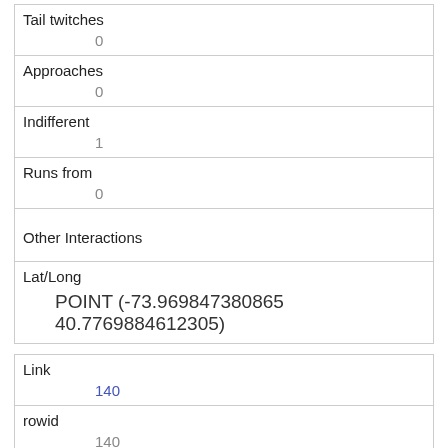| Tail twitches | 0 |
| Approaches | 0 |
| Indifferent | 1 |
| Runs from | 0 |
| Other Interactions |  |
| Lat/Long | POINT (-73.969847380865 40.7769884612305) |
| Link | 140 |
| rowid | 140 |
| longitude | -73.97686527856641 |
| latitude | 40.768483816820705 |